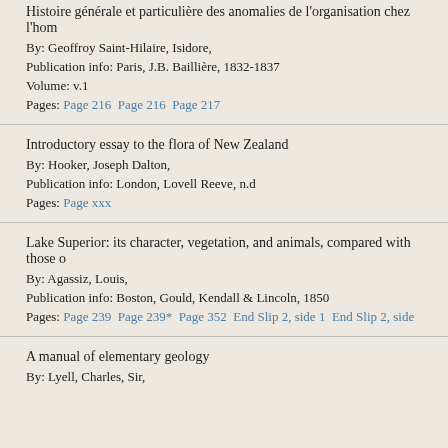Histoire générale et particulière des anomalies de l'organisation chez l'hom...
By: Geoffroy Saint-Hilaire, Isidore,
Publication info: Paris, J.B. Baillière, 1832-1837
Volume: v.1
Pages: Page 216  Page 216  Page 217
Introductory essay to the flora of New Zealand
By: Hooker, Joseph Dalton,
Publication info: London, Lovell Reeve, n.d
Pages: Page xxx
Lake Superior: its character, vegetation, and animals, compared with those o...
By: Agassiz, Louis,
Publication info: Boston, Gould, Kendall & Lincoln, 1850
Pages: Page 239  Page 239*  Page 352  End Slip 2, side 1  End Slip 2, side...
A manual of elementary geology
By: Lyell, Charles, Sir,